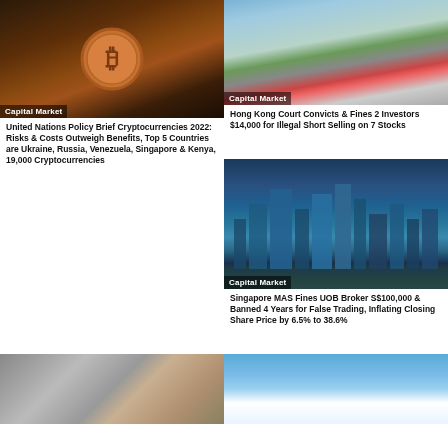[Figure (photo): Close-up of a golden Bitcoin coin with Bitcoin logo, dark warm toned background]
Capital Market
United Nations Policy Brief Cryptocurrencies 2022: Risks & Costs Outweigh Benefits, Top 5 Countries are Ukraine, Russia, Venezuela, Singapore & Kenya, 19,000 Cryptocurrencies
[Figure (photo): Hong Kong street scene with red double-decker bus, Chinese flag, mountains in background]
Capital Market
Hong Kong Court Convicts & Fines 2 Investors $14,000 for Illegal Short Selling on 7 Stocks
[Figure (photo): Singapore city skyline with skyscrapers reflecting in water at dusk]
Capital Market
Singapore MAS Fines UOB Broker S$100,000 & Banned 4 Years for False Trading, Inflating Closing Share Price by 6.5% to 38.6%
[Figure (photo): Portrait photo of a person with financial data/screen in background]
[Figure (photo): Blue sky with white clouds]